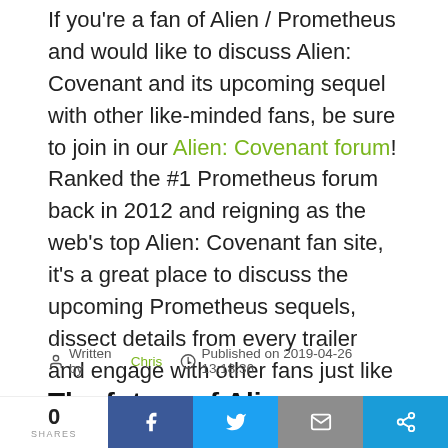If you're a fan of Alien / Prometheus and would like to discuss Alien: Covenant and its upcoming sequel with other like-minded fans, be sure to join in our Alien: Covenant forum! Ranked the #1 Prometheus forum back in 2012 and reigning as the web's top Alien: Covenant fan site, it's a great place to discuss the upcoming Prometheus sequels, dissect details from every trailer and engage with other fans just like you.
Written by Chris  Published on 2019-04-26 13:18:36
The future of Alien